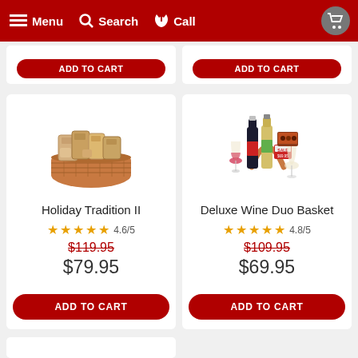Menu  Search  Call
[Figure (photo): Holiday Tradition II gift basket with assorted snacks in wicker basket]
Holiday Tradition II
4.6/5
$119.95  $79.95
ADD TO CART
[Figure (photo): Deluxe Wine Duo Basket with two wine bottles, glasses, and chocolates, Sale tag visible]
Deluxe Wine Duo Basket
4.8/5
$109.95  $69.95
ADD TO CART